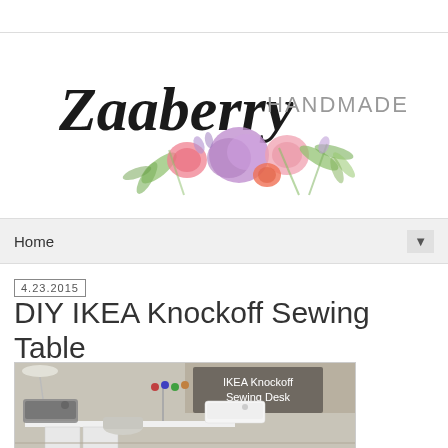[Figure (logo): Zaaberry Handmade blog logo with script text and watercolor flowers]
Home
4.23.2015
DIY IKEA Knockoff Sewing Table
[Figure (photo): Photo of a sewing desk with text overlay reading 'IKEA Knockoff Sewing Desk', showing sewing machines on a white desk with thread spools mounted on wall]